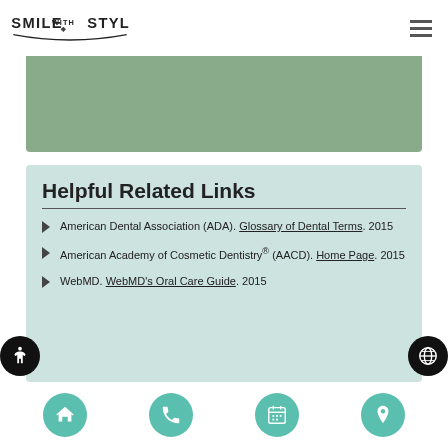Smile With Style
Helpful Related Links
American Dental Association (ADA). Glossary of Dental Terms. 2015
American Academy of Cosmetic Dentistry® (AACD). Home Page. 2015
WebMD. WebMD's Oral Care Guide. 2015